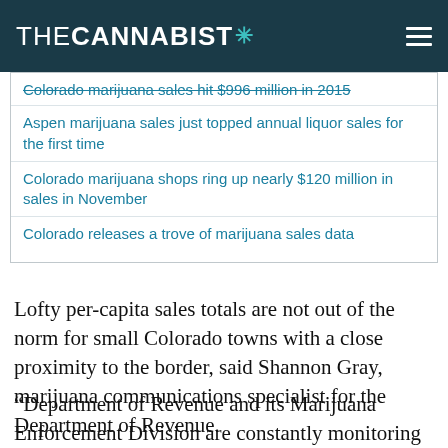THE CANNABIST *
Colorado marijuana sales hit $996 million in 2015
Aspen marijuana sales just topped annual liquor sales for the first time
Colorado marijuana shops ring up nearly $120 million in sales in November
Colorado releases a trove of marijuana sales data
Lofty per-capita sales totals are not out of the norm for small Colorado towns with a close proximity to the border, said Shannon Gray, marijuana communications specialist for the Department of Revenue.
“Department of Revenue and its Marijuana Enforcement Division are constantly monitoring marijuana activity across the state to protect public safety,” she said. “The (per-capita data) referenced indicate sales to the consumer, so it would not